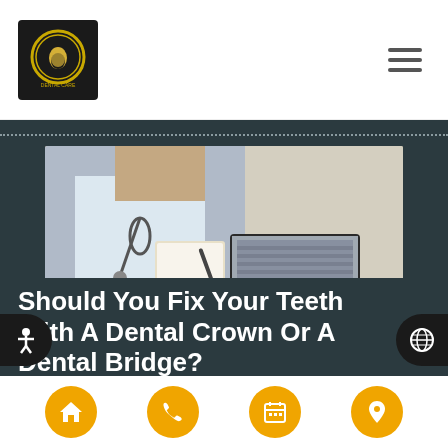Dental clinic website header with logo and hamburger menu
[Figure (photo): Doctor in white coat with stethoscope holding papers, sitting across from patient at desk with laptop showing dental x-ray and dental model]
Should You Fix Your Teeth With A Dental Crown Or A Dental Bridge?
[Figure (infographic): Bottom navigation bar with four orange circular icon buttons: home, phone, calendar, location pin; plus accessibility icon on left and globe icon on right]